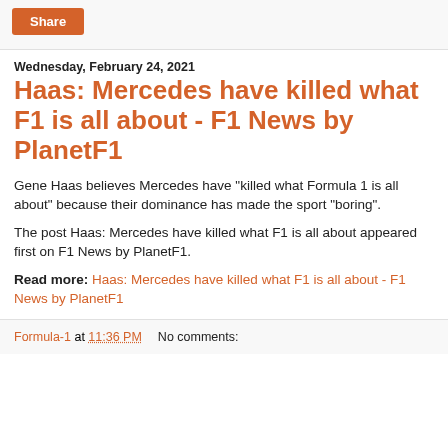Share
Wednesday, February 24, 2021
Haas: Mercedes have killed what F1 is all about - F1 News by PlanetF1
Gene Haas believes Mercedes have “killed what Formula 1 is all about” because their dominance has made the sport “boring”.
The post Haas: Mercedes have killed what F1 is all about appeared first on F1 News by PlanetF1.
Read more: Haas: Mercedes have killed what F1 is all about - F1 News by PlanetF1
Formula-1 at 11:36 PM    No comments: